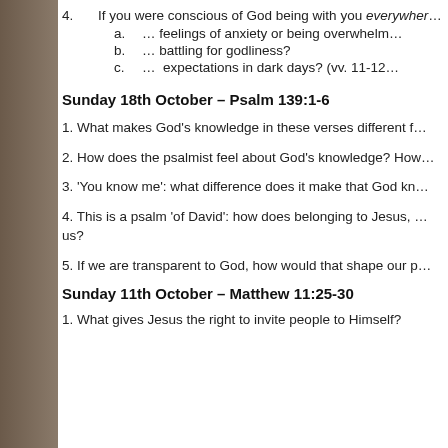4.   If you were conscious of God being with you everywhere…
a.   … feelings of anxiety or being overwhelm…
b.   … battling for godliness?
c.   …  expectations in dark days? (vv. 11-12…
Sunday 18th October – Psalm 139:1-6
1. What makes God's knowledge in these verses different f…
2. How does the psalmist feel about God's knowledge? How…
3. 'You know me': what difference does it make that God kn…
4. This is a psalm 'of David': how does belonging to Jesus, … us?
5. If we are transparent to God, how would that shape our p…
Sunday 11th October – Matthew 11:25-30
1. What gives Jesus the right to invite people to Himself?